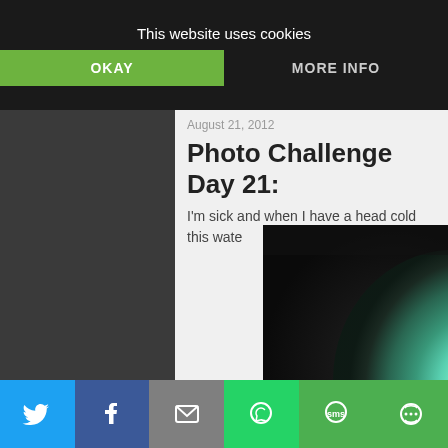This website uses cookies
OKAY
MORE INFO
August 21, 2012
Photo Challenge Day 21:
I'm sick and when I have a head cold this wate
[Figure (photo): Close-up photo of a teal/mint colored object with glowing green light against a dark background]
[Figure (infographic): Social share bar with Twitter, Facebook, Email, WhatsApp, SMS, and other sharing icons on colored backgrounds]